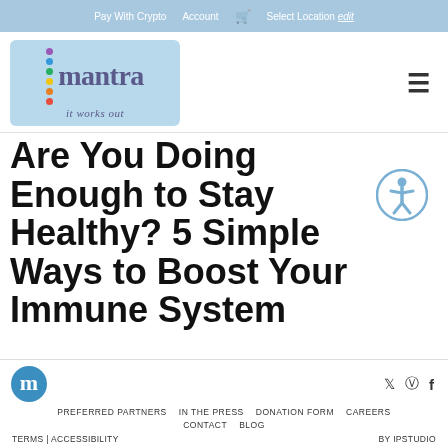Pay With Crypto   Account   🛒   Select Location edit
[Figure (logo): Mantra 'it works out' logo on light blue background with colored dots]
Are You Doing Enough to Stay Healthy? 5 Simple Ways to Boost Your Immune System
PREFERRED PARTNERS   IN THE PRESS   DONATION FORM   CAREERS   CONTACT   BLOG   TERMS | ACCESSIBILITY   BY IPSTUDIO